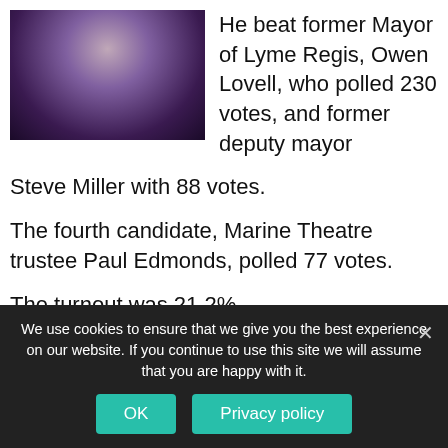[Figure (photo): Photo of a man in a dark jacket and light pink shirt, partially visible, dark purple/blue background]
He beat former Mayor of Lyme Regis, Owen Lovell, who polled 230 votes, and former deputy mayor Steve Miller with 88 votes.
The fourth candidate, Marine Theatre trustee Paul Edmonds, polled 77 votes.
The turnout was 21.2%.
The by-election was called following the resignation of Cheryl Reynolds, just a week after retaining her seat in the May elections, and Mr Smith will now
We use cookies to ensure that we give you the best experience on our website. If you continue to use this site we will assume that you are happy with it.